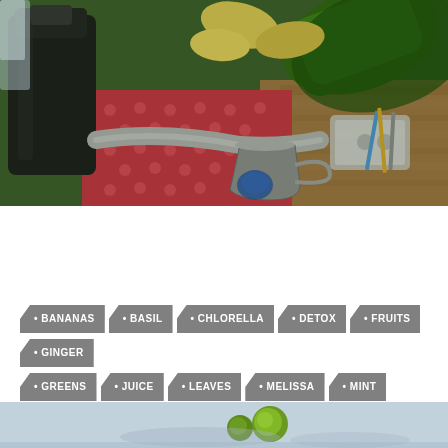[Figure (photo): A juicer/blender machine with a green smoothie bottle on top, fruits, metal spout and cup, with a red polka-dot fabric background and wood surface. Kitchen scene making green juice/smoothie.]
BANANAS
BASIL
CHLORELLA
DETOX
FRUITS
GINGER
GREENS
JUICE
LEAVES
MELISSA
MINT
SMOOTHIE
SPIRULINA
WILD EDIBLE
[Figure (photo): Partial view of green ingredients/lime slices on a light blue-gray surface at the bottom of the page.]